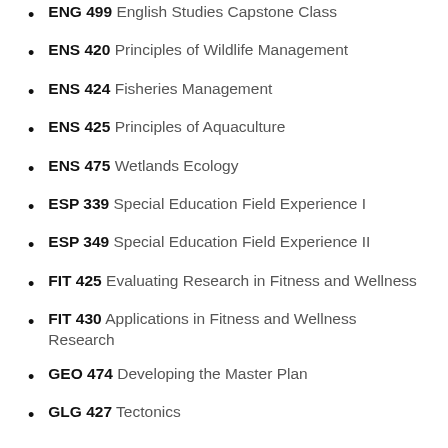ENG 499  English Studies Capstone Class
ENS 420  Principles of Wildlife Management
ENS 424  Fisheries Management
ENS 425  Principles of Aquaculture
ENS 475  Wetlands Ecology
ESP 339  Special Education Field Experience I
ESP 349  Special Education Field Experience II
FIT 425  Evaluating Research in Fitness and Wellness
FIT 430  Applications in Fitness and Wellness Research
GEO 474  Developing the Master Plan
GLG 427  Tectonics